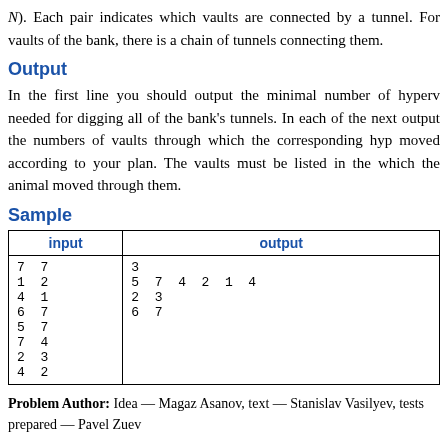N). Each pair indicates which vaults are connected by a tunnel. For vaults of the bank, there is a chain of tunnels connecting them.
Output
In the first line you should output the minimal number of hypervaults needed for digging all of the bank's tunnels. In each of the next output the numbers of vaults through which the corresponding hypervault moved according to your plan. The vaults must be listed in the order which the animal moved through them.
Sample
| input | output |
| --- | --- |
| 7 7
1 2
4 1
6 7
5 7
7 4
2 3
4 2 | 3
5 7 4 2 1 4
2 3
6 7 |
Problem Author: Idea — Magaz Asanov, text — Stanislav Vasilyev, tests prepared — Pavel Zuev